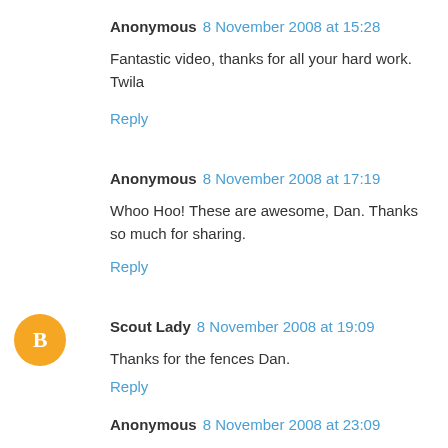Anonymous 8 November 2008 at 15:28
Fantastic video, thanks for all your hard work.
Twila
Reply
Anonymous 8 November 2008 at 17:19
Whoo Hoo! These are awesome, Dan. Thanks so much for sharing.
Reply
[Figure (illustration): Orange circle avatar with white letter B (Blogger logo)]
Scout Lady 8 November 2008 at 19:09
Thanks for the fences Dan.
Reply
Anonymous 8 November 2008 at 23:09